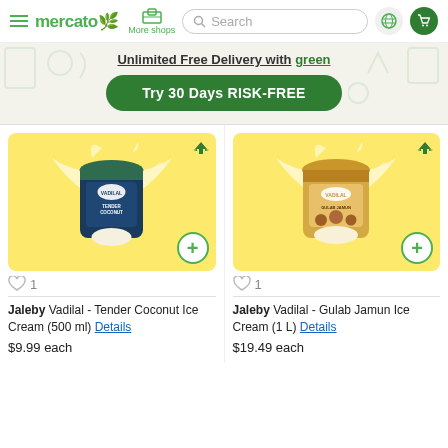mercato — More shops — Search — Globe — Cart
[Figure (screenshot): Mercato promotional banner: Unlimited Free Delivery with green. Try 30 Days RISK-FREE button.]
Unlimited Free Delivery with green
Try 30 Days RISK-FREE
[Figure (photo): Product card: Jaleby Vadilal - Tender Coconut Ice Cream (500 ml) with yellow background and milk splash. Airplane icon, wishlist heart (1), add button.]
♡ 1
Jaleby Vadilal - Tender Coconut Ice Cream (500 ml) Details
$9.99 each
[Figure (photo): Product card: Jaleby Vadilal - Gulab Jamun Ice Cream (1 L) with yellow background and milk splash. Airplane icon, wishlist heart (1), add button.]
♡ 1
Jaleby Vadilal - Gulab Jamun Ice Cream (1 L) Details
$19.49 each